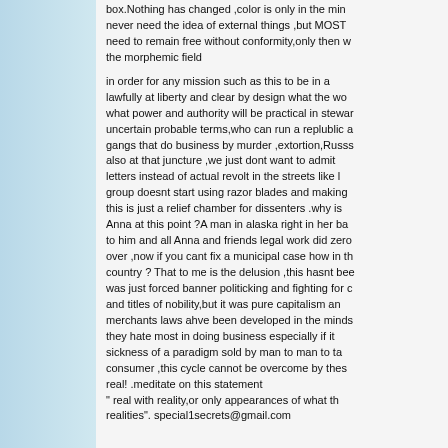box.Nothing has changed ,color is only in the mind never need the idea of external things ,but MOST need to remain free without conformity,only then w the morphemic field
in order for any mission such as this to be in a lawfully at liberty and clear by design what the wo what power and authority will be practical in stewar uncertain probable terms,who can run a replublic a gangs that do business by murder ,extortion,Russs also at that juncture ,we just dont want to admit letters instead of actual revolt in the streets like l group doesnt start using razor blades and making this is just a relief chamber for dissenters .why is Anna at this point ?A man in alaska right in her ba to him and all Anna and friends legal work did zero over ,now if you cant fix a municipal case how in th country ? That to me is the delusion ,this hasnt bee was just forced banner politicking and fighting for c and titles of nobility,but it was pure capitalism an merchants laws ahve been developed in the minds they hate most in doing business especially if it sickness of a paradigm sold by man to man to ta consumer ,this cycle cannot be overcome by thes real! .meditate on this statement " real with reality,or only appearances of what th realities". special1secrets@gmail.com